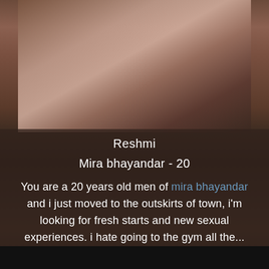[Figure (photo): Blurred dark background photo of a person, upper portion showing warm-toned blurred figure, lower portion with dark semi-transparent overlay panel]
Reshmi
Mira bhayandar - 20
You are a 20 years old men of mira bhayandar and i just moved to the outskirts of town, i'm looking for fresh starts and new sexual experiences. i hate going to the gym all the...